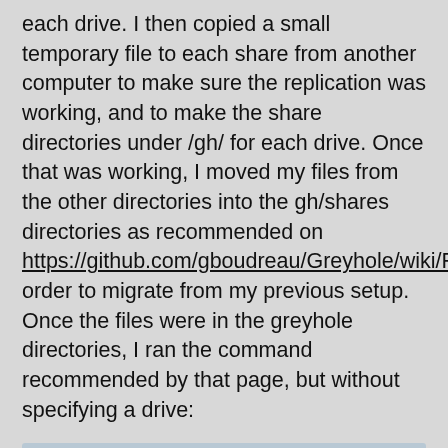each drive. I then copied a small temporary file to each share from another computer to make sure the replication was working, and to make the share directories under /gh/ for each drive. Once that was working, I moved my files from the other directories into the gh/shares directories as recommended on https://github.com/gboudreau/Greyhole/wiki/Reuse order to migrate from my previous setup. Once the files were in the greyhole directories, I ran the command recommended by that page, but without specifying a drive:
sudo greyhole --fsck --find-orphaned
My files were then visible from the shares and duplication began. The final step was to mount